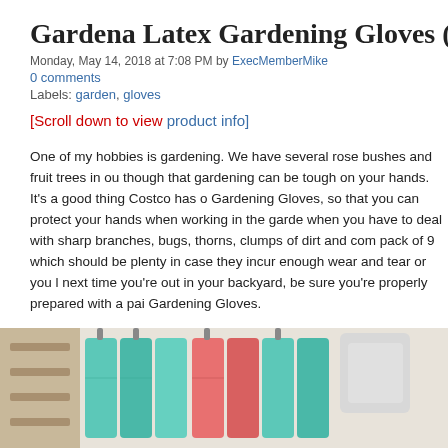Gardena Latex Gardening Gloves (9
Monday, May 14, 2018 at 7:08 PM by ExecMemberMike
0 comments
Labels: garden, gloves
[Scroll down to view product info]
One of my hobbies is gardening. We have several rose bushes and fruit trees in ou though that gardening can be tough on your hands. It's a good thing Costco has o Gardening Gloves, so that you can protect your hands when working in the garde when you have to deal with sharp branches, bugs, thorns, clumps of dirt and com pack of 9 which should be plenty in case they incur enough wear and tear or you l next time you're out in your backyard, be sure you're properly prepared with a pai Gardening Gloves.
[Figure (photo): Photo showing colorful gardening gloves on a display rack in a store setting]